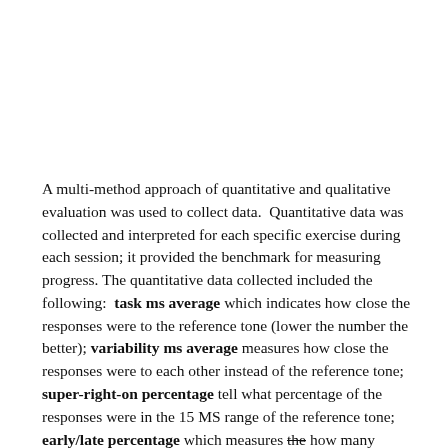A multi-method approach of quantitative and qualitative evaluation was used to collect data.  Quantitative data was collected and interpreted for each specific exercise during each session; it provided the benchmark for measuring progress.  The quantitative data collected included the following:  task ms average which indicates how close the responses were to the reference tone (lower the number the better); variability ms average measures how close the responses were to each other instead of the reference tone; super-right-on percentage tell what percentage of the responses were in the 15 MS range of the reference tone; early/late percentage which measures the how many responses were and what is...